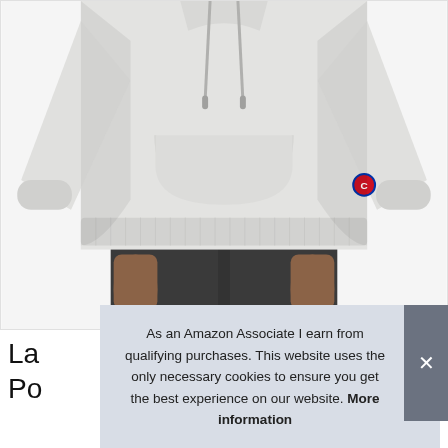[Figure (photo): A man's torso wearing a light grey heathered Champion hoodie sweatshirt with kangaroo pocket and small Champion logo on the left sleeve, paired with dark charcoal grey jogger pants. The photo is cropped at the neck and mid-thigh.]
La Po
As an Amazon Associate I earn from qualifying purchases. This website uses the only necessary cookies to ensure you get the best experience on our website. More information